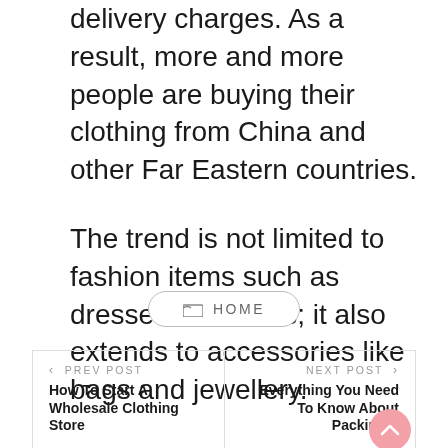delivery charges. As a result, more and more people are buying their clothing from China and other Far Eastern countries.
The trend is not limited to fashion items such as dresses and shirts; it also extends to accessories like bags and jewellery.
HOME
< PREV POST
How To Start A Wholesale Clothing Store
NEXT POST >
Everything You Need To Know About Packing A